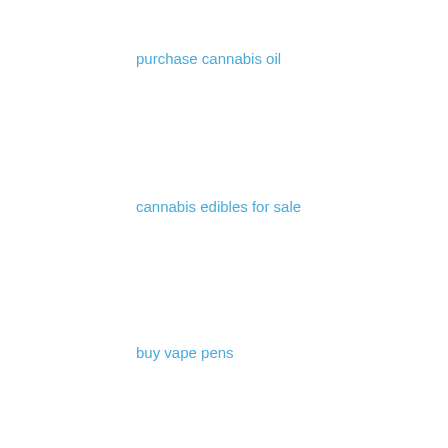purchase cannabis oil
cannabis edibles for sale
buy vape pens
order cbd oil online
buy co2 cartridge
Reply
Megabudshop  February 16, 2020 at 3:28 PM
Healthy blog, thanks for the post. We offer to you